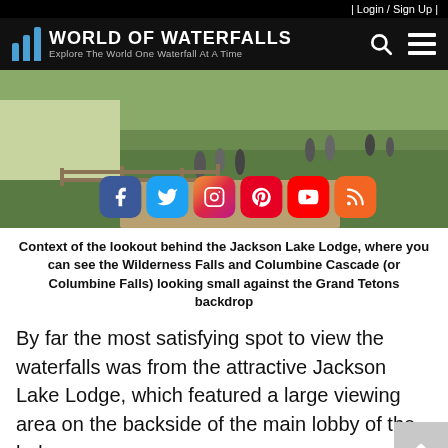| Login / Sign Up |
[Figure (logo): World of Waterfalls logo with three blue vertical bars and site name and tagline]
[Figure (photo): Outdoor photo of people at a lookout area with social media icons (Facebook, Twitter, Instagram, Pinterest, YouTube, RSS) overlaid on the image. Background shows a green meadow landscape.]
Context of the lookout behind the Jackson Lake Lodge, where you can see the Wilderness Falls and Columbine Cascade (or Columbine Falls) looking small against the Grand Tetons backdrop
By far the most satisfying spot to view the waterfalls was from the attractive Jackson Lake Lodge, which featured a large viewing area on the backside of the main lobby of the lodge.